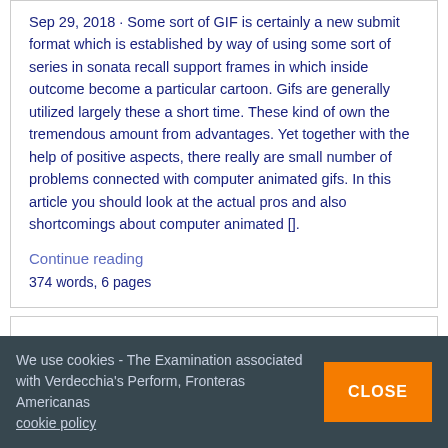Sep 29, 2018 · Some sort of GIF is certainly a new submit format which is established by way of using some sort of series in sonata recall support frames in which inside outcome become a particular cartoon. Gifs are generally utilized largely these a short time. These kind of own the tremendous amount from advantages. Yet together with the help of positive aspects, there really are small number of problems connected with computer animated gifs. In this article you should look at the actual pros and also shortcomings about computer animated [].
Continue reading
374 words, 6 pages
Coke vs pepsi war case study
We use cookies - The Examination associated with Verdecchia's Perform, Fronteras Americanas cookie policy